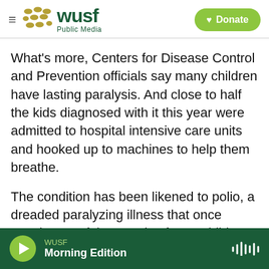WUSF Public Media | Donate
What's more, Centers for Disease Control and Prevention officials say many children have lasting paralysis. And close to half the kids diagnosed with it this year were admitted to hospital intensive care units and hooked up to machines to help them breathe.
The condition has been likened to polio, a dreaded paralyzing illness that once struck tens of thousands of U.S. children a year. Those outbreaks ended after a polio vaccine became available in the 1950s. Investigators of the current outbreak have
WUSF Morning Edition